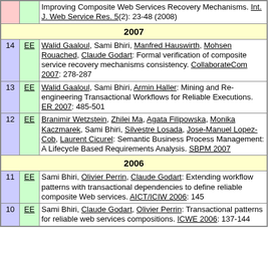| # | EE | Reference |
| --- | --- | --- |
|  | EE | Improving Composite Web Services Recovery Mechanisms. Int. J. Web Service Res. 5(2): 23-48 (2008) |
| 2007 |  |  |
| 14 | EE | Walid Gaaloul, Sami Bhiri, Manfred Hauswirth, Mohsen Rouached, Claude Godart: Formal verification of composite service recovery mechanisms consistency. CollaborateCom 2007: 278-287 |
| 13 | EE | Walid Gaaloul, Sami Bhiri, Armin Haller: Mining and Re-engineering Transactional Workflows for Reliable Executions. ER 2007: 485-501 |
| 12 | EE | Branimir Wetzstein, Zhilei Ma, Agata Filipowska, Monika Kaczmarek, Sami Bhiri, Silvestre Losada, Jose-Manuel Lopez-Cob, Laurent Cicurel: Semantic Business Process Management: A Lifecycle Based Requirements Analysis. SBPM 2007 |
| 2006 |  |  |
| 11 | EE | Sami Bhiri, Olivier Perrin, Claude Godart: Extending workflow patterns with transactional dependencies to define reliable composite Web services. AICT/ICIW 2006: 145 |
| 10 | EE | Sami Bhiri, Claude Godart, Olivier Perrin: Transactional patterns for reliable web services compositions. ICWE 2006: 137-144 |